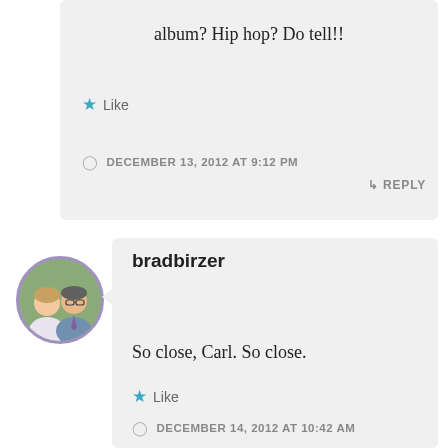album? Hip hop? Do tell!!
Like
DECEMBER 13, 2012 AT 9:12 PM
REPLY
[Figure (photo): Circular avatar photo showing a couple, man and woman, outdoors]
bradbirzer
So close, Carl. So close.
Like
DECEMBER 14, 2012 AT 10:42 AM